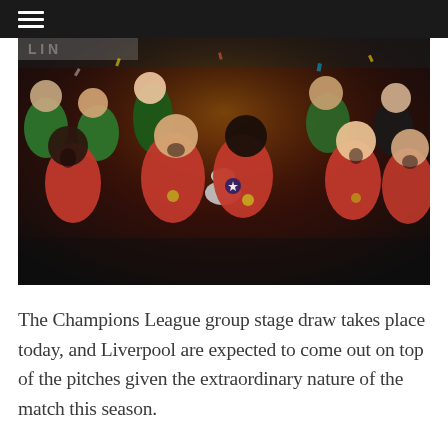[Figure (photo): Liverpool FC players celebrating with the Champions League trophy, players in red shirts cheering and laughing together]
The Champions League group stage draw takes place today, and Liverpool are expected to come out on top of the pitches given the extraordinary nature of the match this season.